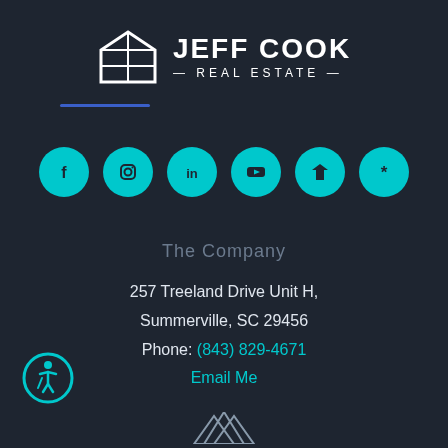[Figure (logo): Jeff Cook Real Estate logo with house icon and brand name]
[Figure (infographic): Six cyan social media icon circles: Facebook, Instagram, LinkedIn, YouTube, Zillow, Yelp]
The Company
257 Treeland Drive Unit H,
Summerville, SC 29456
Phone: (843) 829-4671
Email Me
[Figure (logo): Accessibility icon in cyan circle at bottom left]
[Figure (logo): Partial mountain/logo mark at bottom center]